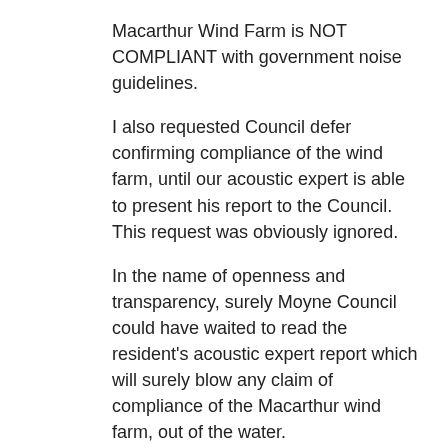Macarthur Wind Farm is NOT COMPLIANT with government noise guidelines.
I also requested Council defer confirming compliance of the wind farm, until our acoustic expert is able to present his report to the Council. This request was obviously ignored.
In the name of openness and transparency, surely Moyne Council could have waited to read the resident's acoustic expert report which will surely blow any claim of compliance of the Macarthur wind farm, out of the water.
We ask Moyne Shire, WHERE HAS DEMOCRACY GONE?
ANN and ANDREW GARDNER